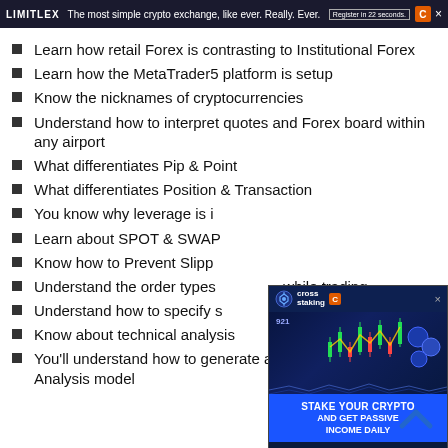Limitlex — The most simple crypto exchange, like ever. Really. Ever. | Register in 22 seconds. | C | ×
Learn how retail Forex is contrasting to Institutional Forex
Learn how the MetaTrader5 platform is setup
Know the nicknames of cryptocurrencies
Understand how to interpret quotes and Forex board within any airport
What differentiates Pip & Point
What differentiates Position & Transaction
You know why leverage is important
Learn about SPOT & SWAP
Know how to Prevent Slippage
Understand the order types while trading
Understand how to specify support & resistance levels
Know about technical analysis
You'll understand how to generate a simple Fundamental Analysis model
[Figure (infographic): Cross staking advertisement overlay: blue crypto-themed banner with candlestick chart graphics, coins, and text 'STAKE YOUR CRYPTO AND GET PASSIVE INCOME DAILY']